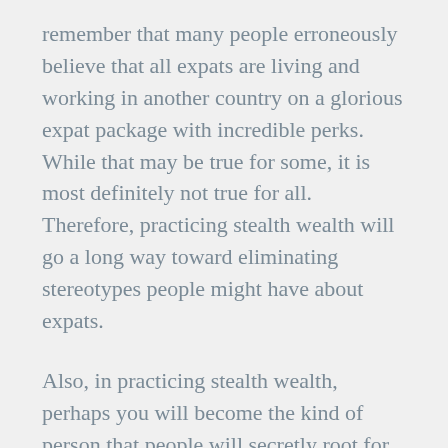remember that many people erroneously believe that all expats are living and working in another country on a glorious expat package with incredible perks. While that may be true for some, it is most definitely not true for all. Therefore, practicing stealth wealth will go a long way toward eliminating stereotypes people might have about expats.
Also, in practicing stealth wealth, perhaps you will become the kind of person that people will secretly root for, and they may even wish for you to achieve greater success. To use a sports analogy, many people appreciate an underdog and hope that they will win. Underdogs subsequently feel that they have less to lose, so they are freer and more relaxed. Using a more relevant example, if you